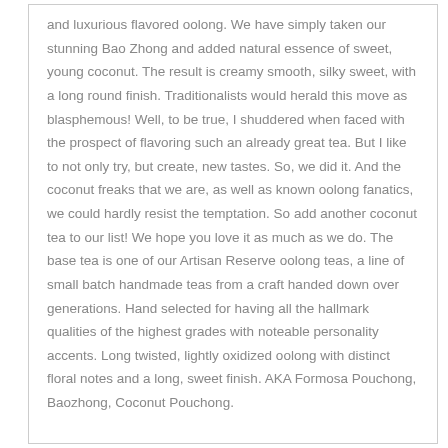and luxurious flavored oolong. We have simply taken our stunning Bao Zhong and added natural essence of sweet, young coconut. The result is creamy smooth, silky sweet, with a long round finish. Traditionalists would herald this move as blasphemous! Well, to be true, I shuddered when faced with the prospect of flavoring such an already great tea. But I like to not only try, but create, new tastes. So, we did it. And the coconut freaks that we are, as well as known oolong fanatics, we could hardly resist the temptation. So add another coconut tea to our list! We hope you love it as much as we do. The base tea is one of our Artisan Reserve oolong teas, a line of small batch handmade teas from a craft handed down over generations. Hand selected for having all the hallmark qualities of the highest grades with noteable personality accents. Long twisted, lightly oxidized oolong with distinct floral notes and a long, sweet finish. AKA Formosa Pouchong, Baozhong, Coconut Pouchong.